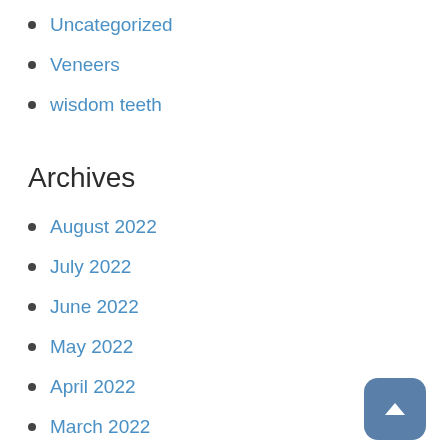Uncategorized
Veneers
wisdom teeth
Archives
August 2022
July 2022
June 2022
May 2022
April 2022
March 2022
February 2022
January 2022